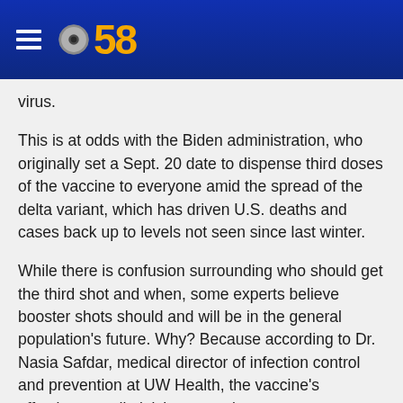CBS 58
virus.
This is at odds with the Biden administration, who originally set a Sept. 20 date to dispense third doses of the vaccine to everyone amid the spread of the delta variant, which has driven U.S. deaths and cases back up to levels not seen since last winter.
While there is confusion surrounding who should get the third shot and when, some experts believe booster shots should and will be in the general population's future. Why? Because according to Dr. Nasia Safdar, medical director of infection control and prevention at UW Health, the vaccine's effectiveness diminishes over time.